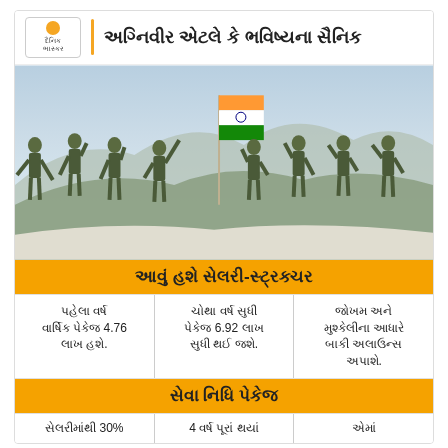અગ્નિવીર એટલે કે ભવિષ્યના સૈનિક
[Figure (photo): Indian soldiers in camouflage uniforms celebrating on a snowy mountain, one holding the Indian tricolor flag raised high]
આવું હશે સેલરી-સ્ટ્રક્ચર
|  |  |  |
| --- | --- | --- |
| પહેલા વર્ષ વાર્ષિક પેકેજ 4.76 લાખ હશે. | ચોથા વર્ષ સુધી પેકેજ 6.92 લાખ સુધી થઈ જશે. | જોખમ અને મુશ્કેલીના આધારે બાકી અલાઉન્સ અપાશે. |
સેવા નિધિ પેકેજ
|  |  |  |
| --- | --- | --- |
| સેલરીમાંથી 30% | 4 વર્ષ પૂરાં થયાં | એમાં |